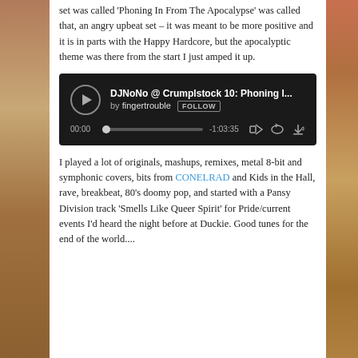set was called 'Phoning In From The Apocalypse' was called that, an angry upbeat set – it was meant to be more positive and it is in parts with the Happy Hardcore, but the apocalyptic theme was there from the start I just amped it up.
[Figure (screenshot): SoundCloud audio player widget showing 'DJNoNo @ Crumplstock 10: Phoning I...' by fingertrouble, with play button, progress bar at 00:00, duration -1:03:35, and control icons.]
I played a lot of originals, mashups, remixes, metal 8-bit and symphonic covers, bits from CONELRAD and Kids in the Hall, rave, breakbeat, 80's doomy pop, and started with a Pansy Division track 'Smells Like Queer Spirit' for Pride/current events I'd heard the night before at Duckie. Good tunes for the end of the world....